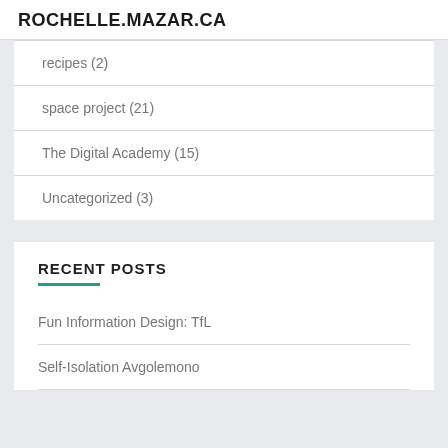ROCHELLE.MAZAR.CA
recipes (2)
space project (21)
The Digital Academy (15)
Uncategorized (3)
RECENT POSTS
Fun Information Design: TfL
Self-Isolation Avgolemono